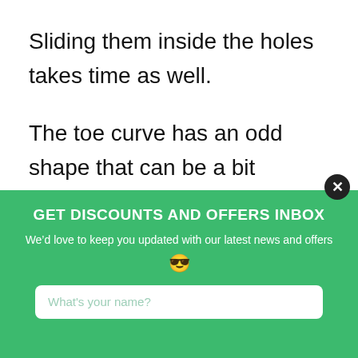Sliding them inside the holes takes time as well.
The toe curve has an odd shape that can be a bit uncomfortable to your toes. Chances are very high that the shape of the toe box will affect users
GET DISCOUNTS AND OFFERS INBOX
We'd love to keep you updated with our latest news and offers 😎
What's your name?